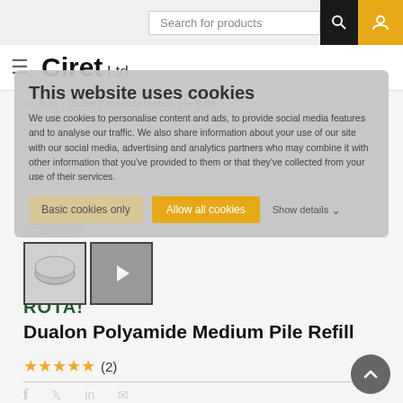Search for products
Ciret Ltd.
[Figure (screenshot): Cookie consent overlay on Ciret Ltd. website with title 'This website uses cookies', descriptive text about cookies, and buttons 'Basic cookies only', 'Allow all cookies', 'Show details']
Rota - Dualon Polyamide Medium Pile Refill
[Figure (photo): Product image placeholder for item 16018030 and thumbnail images including a video thumbnail]
ROTA!
Dualon Polyamide Medium Pile Refill
★★★★★ (2)